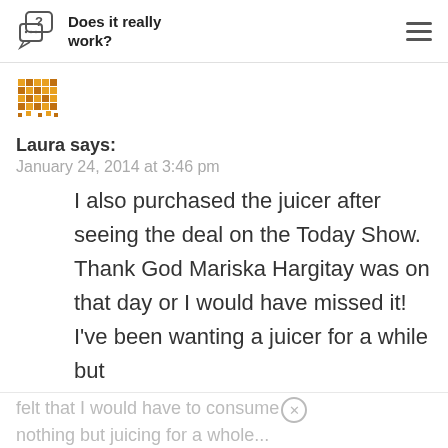Does it really work?
[Figure (logo): Pixel-art style chat/question mark icon in orange and brown]
Laura says:
January 24, 2014 at 3:46 pm
I also purchased the juicer after seeing the deal on the Today Show. Thank God Mariska Hargitay was on that day or I would have missed it! I’ve been wanting a juicer for a while but
felt that I would have to consume
nothing but juicing for a whole...